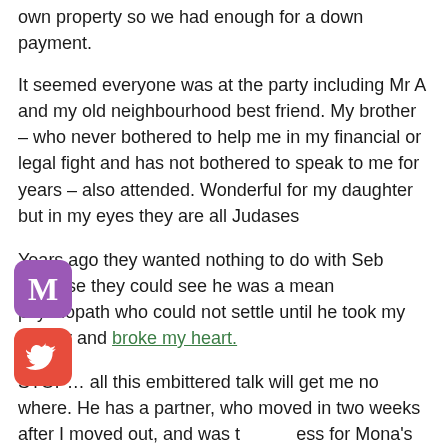own property so we had enough for a down payment.
It seemed everyone was at the party including Mr A and my old neighbourhood best friend. My brother – who never bothered to help me in my financial or legal fight and has not bothered to speak to me for years – also attended. Wonderful for my daughter but in my eyes they are all Judases
Years ago they wanted nothing to do with Seb because they could see he was a mean psychopath who could not settle until he took my money and broke my heart.
STOP… all this embittered talk will get me no where. He has a partner, who moved in two weeks after I moved out, and was th ess for Mona's party.  This women has actually heavily co uted to my daughter's mental health issues so for the p of the remainder of this post we will eradicate her and g o that moment when I saw Mr A across the forecourt. Like I said earlier – what if I had listened to my gut?